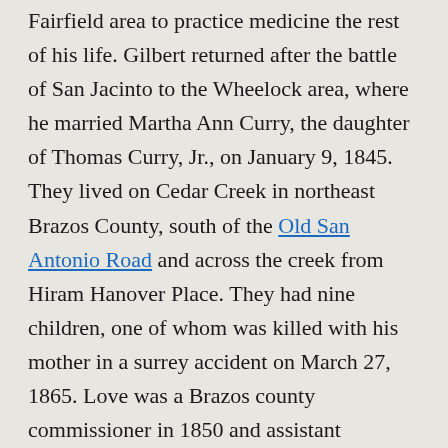Fairfield area to practice medicine the rest of his life. Gilbert returned after the battle of San Jacinto to the Wheelock area, where he married Martha Ann Curry, the daughter of Thomas Curry, Jr., on January 9, 1845. They lived on Cedar Creek in northeast Brazos County, south of the Old San Antonio Road and across the creek from Hiram Hanover Place. They had nine children, one of whom was killed with his mother in a surrey accident on March 27, 1865. Love was a Brazos county commissioner in 1850 and assistant marshall in 1860. He also served as enumerator for the 1860 census of Brazos and Robertson counties. He married Olivia Jane Lewis on July 22, 1866, and they had four children. The family moved to Wheelock, where they lived in a two-story house on State Street, next door to